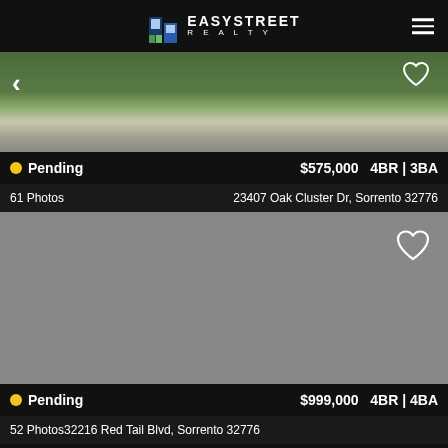[Figure (logo): EasyStreet Realty logo with building icon]
[Figure (photo): Exterior photo of property at 23407 Oak Cluster Dr showing driveway and lawn]
Pending  $575,000  4BR | 3BA
61 Photos  23407 Oak Cluster Dr, Sorrento 32776
[Figure (photo): Gray placeholder image for 32216 Red Tail Blvd property listing]
Pending  $999,000  4BR | 4BA
52 Photos  32216 Red Tail Blvd, Sorrento 32776
Call Agent
Message Agent
Schedule Tour